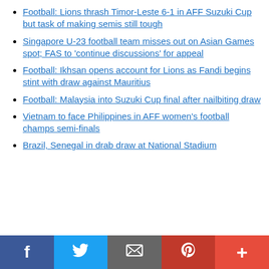Football: Lions thrash Timor-Leste 6-1 in AFF Suzuki Cup but task of making semis still tough
Singapore U-23 football team misses out on Asian Games spot; FAS to 'continue discussions' for appeal
Football: Ikhsan opens account for Lions as Fandi begins stint with draw against Mauritius
Football: Malaysia into Suzuki Cup final after nailbiting draw
Vietnam to face Philippines in AFF women's football champs semi-finals
Brazil, Senegal in drab draw at National Stadium